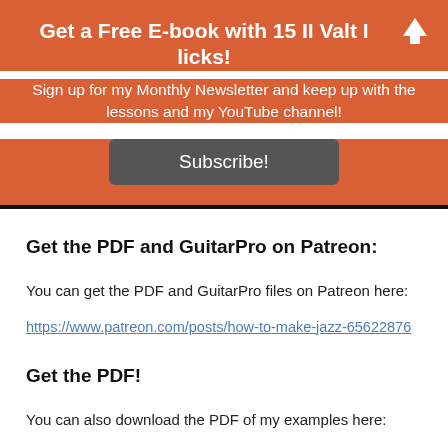Get a Free E-book with 15 II Valt I licks!
Sign up for my Monthly Newsletter and keep up with the lessons and my YouTube channel!
Subscribe!
Get the PDF and GuitarPro on Patreon:
You can get the PDF and GuitarPro files on Patreon here:
https://www.patreon.com/posts/how-to-make-jazz-65622876
Get the PDF!
You can also download the PDF of my examples here: